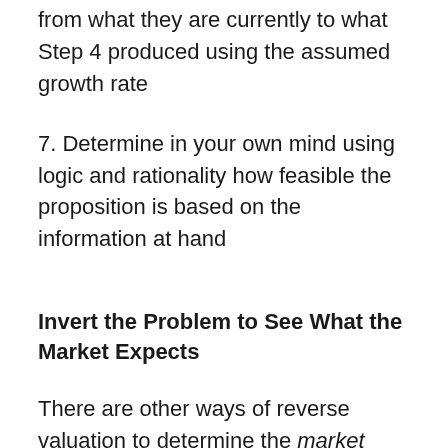from what they are currently to what Step 4 produced using the assumed growth rate
7. Determine in your own mind using logic and rationality how feasible the proposition is based on the information at hand
Invert the Problem to See What the Market Expects
There are other ways of reverse valuation to determine the market expectations of a stock, which I'll walk you through another time, but one thing that becomes clear is that once you start doing this, your questioning and thought